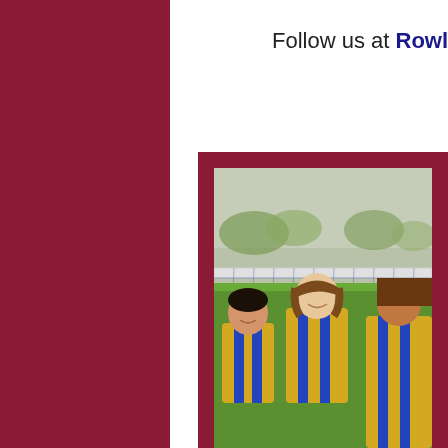Follow us at Rowle
[Figure (photo): Three children in yellow and blue striped soccer/football jerseys standing in front of a goal net on a grass field, smiling at the camera]